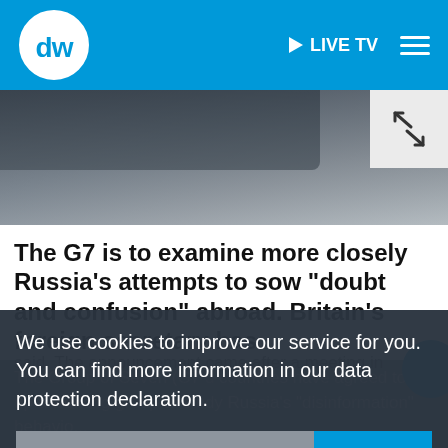DW | LIVE TV
[Figure (screenshot): Blurred/dark news article hero image with an expand icon in the top right corner]
The G7 is to examine more closely Russia's attempts to sow "doubt and confusion" abroad. Britain's foreign secretary has said. The announcement came after a meeting in
We use cookies to improve our service for you. You can find more information in our data protection declaration.
More info | OK
The Group of Seven (G7 d countries have agreed to set up a working group to study Russia's "disinformation" behaviour